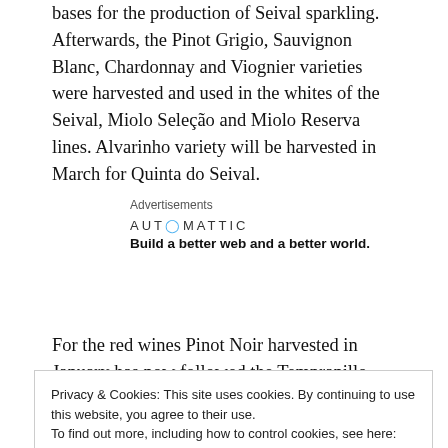bases for the production of Seival sparkling. Afterwards, the Pinot Grigio, Sauvignon Blanc, Chardonnay and Viognier varieties were harvested and used in the whites of the Seival, Miolo Seleção and Miolo Reserva lines. Alvarinho variety will be harvested in March for Quinta do Seival.
Advertisements
AUTOMATTIC
Build a better web and a better world.
For the red wines Pinot Noir harvested in January has now followed the Tempranillo, Touriga Nacional, Merlot
Privacy & Cookies: This site uses cookies. By continuing to use this website, you agree to their use.
To find out more, including how to control cookies, see here: Cookie Policy
Close and accept